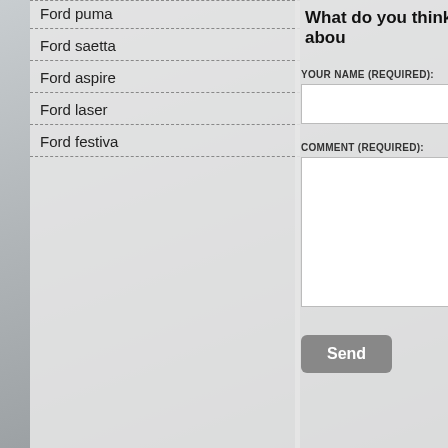Ford puma
Ford saetta
Ford aspire
Ford laser
Ford festiva
What do you think abou
YOUR NAME (REQUIRED):
COMMENT (REQUIRED):
Send